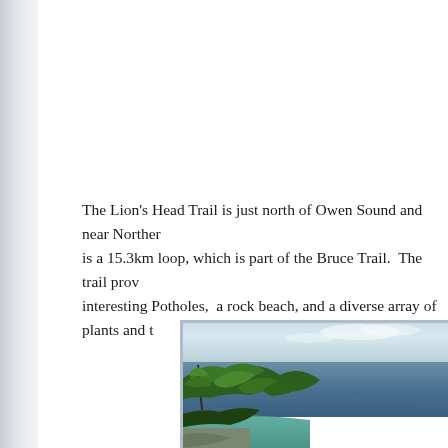The Lion's Head Trail is just north of Owen Sound and near Northern... is a 15.3km loop, which is part of the Bruce Trail.  The trail prov... interesting Potholes,  a rock beach, and a diverse array of plants and t...
[Figure (photo): Aerial or elevated view from a cliff top showing green trees in the foreground lower left, turquoise and deep blue Georgian Bay water stretching to the horizon, and a pale blue sky with light clouds above.]